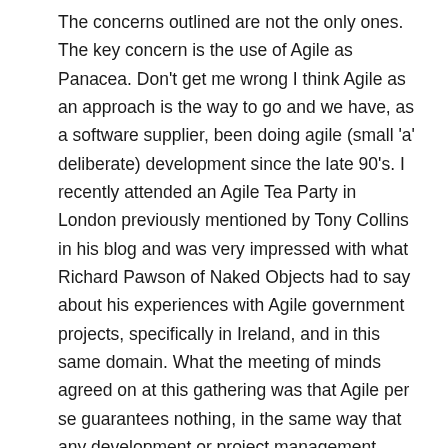The concerns outlined are not the only ones. The key concern is the use of Agile as Panacea. Don't get me wrong I think Agile as an approach is the way to go and we have, as a software supplier, been doing agile (small 'a' deliberate) development since the late 90's. I recently attended an Agile Tea Party in London previously mentioned by Tony Collins in his blog and was very impressed with what Richard Pawson of Naked Objects had to say about his experiences with Agile government projects, specifically in Ireland, and in this same domain. What the meeting of minds agreed on at this gathering was that Agile per se guarantees nothing, in the same way that any development or project management guarantee nothing. The key in all